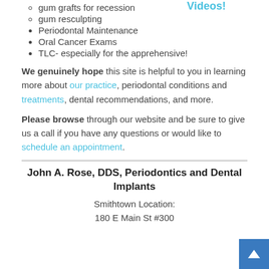gum grafts for recession
gum resculpting
Periodontal Maintenance
Oral Cancer Exams
TLC- especially for the apprehensive!
We genuinely hope this site is helpful to you in learning more about our practice, periodontal conditions and treatments, dental recommendations, and more.
Please browse through our website and be sure to give us a call if you have any questions or would like to schedule an appointment.
John A. Rose, DDS, Periodontics and Dental Implants
Smithtown Location:
180 E Main St #300